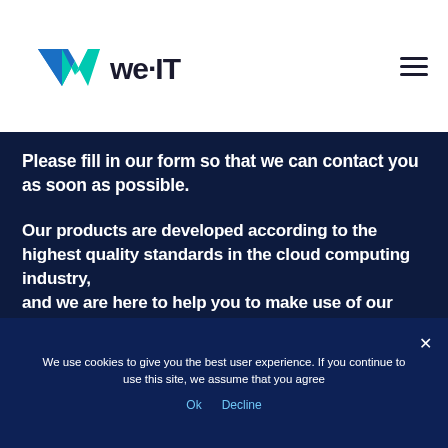[Figure (logo): we·IT company logo with teal and dark blue W mark and we·IT text]
Please fill in our form so that we can contact you as soon as possible.
Our products are developed according to the highest quality standards in the cloud computing industry, and we are here to help you to make use of our advanced innovation systems.
We use cookies to give you the best user experience. If you continue to use this site, we assume that you agree
Ok  Decline